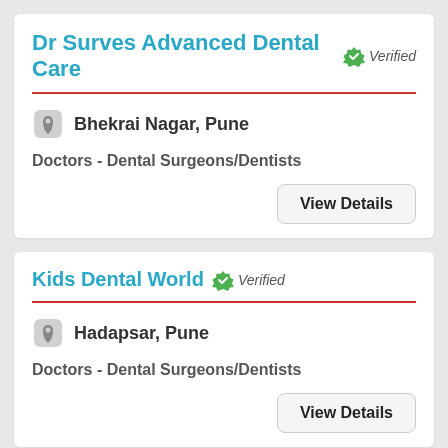Dr Surves Advanced Dental Care Verified
Bhekrai Nagar, Pune
Doctors - Dental Surgeons/Dentists
View Details
Kids Dental World Verified
Hadapsar, Pune
Doctors - Dental Surgeons/Dentists
View Details